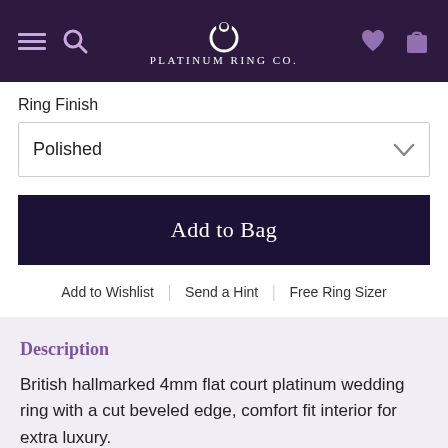PLATINUM RING CO.
Ring Finish
Polished
Add to Bag
Add to Wishlist | Send a Hint | Free Ring Sizer
Description
British hallmarked 4mm flat court platinum wedding ring with a cut beveled edge, comfort fit interior for extra luxury.